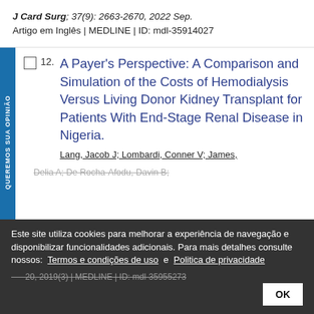J Card Surg; 37(9): 2663-2670, 2022 Sep. Artigo em Inglês | MEDLINE | ID: mdl-35914027
A Payer's Perspective: A Comparison and Simulation of the Costs of Hemodialysis Versus Living Donor Kidney Transplant for Patients With End-Stage Renal Disease in Nigeria.
Lang, Jacob J; Lombardi, Conner V; James,
Este site utiliza cookies para melhorar a experiência de navegação e disponibilizar funcionalidades adicionais. Para mais detalhes consulte nossos: Termos e condições de uso e Politica de privacidade